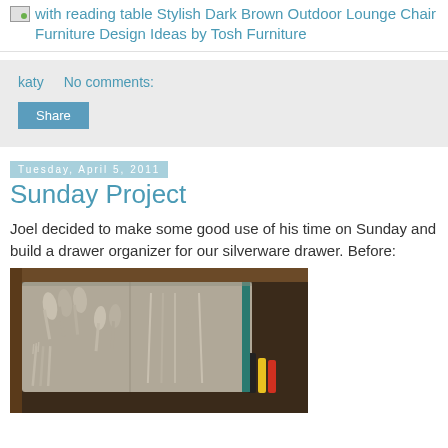[with reading table Stylish Dark Brown Outdoor Lounge Chair Furniture Design Ideas by Tosh Furniture
katy   No comments:
Share
Tuesday, April 5, 2011
Sunday Project
Joel decided to make some good use of his time on Sunday and build a drawer organizer for our silverware drawer. Before:
[Figure (photo): Photo of an open silverware drawer with various cutlery (spoons, forks, knives) organized in a metal tray insert, before being reorganized with a custom wooden drawer organizer]